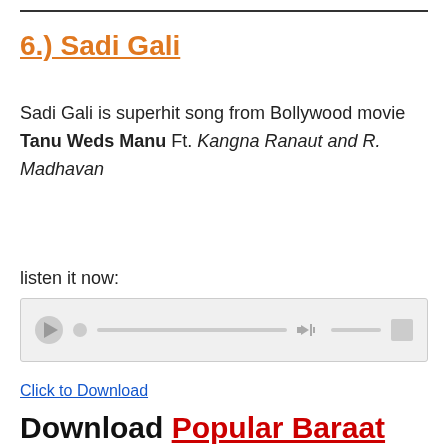6.) Sadi Gali
Sadi Gali is superhit song from Bollywood movie Tanu Weds Manu Ft. Kangna Ranaut and R. Madhavan
listen it now:
[Figure (other): Audio player widget with play button, progress bar, volume control, and settings icon]
Click to Download
Download Popular Baraat Songs (Released After)